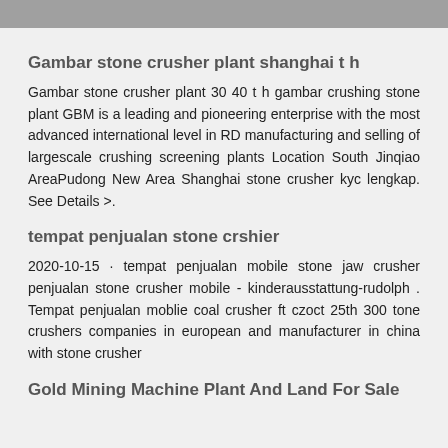Gambar stone crusher plant shanghai t h
Gambar stone crusher plant 30 40 t h gambar crushing stone plant GBM is a leading and pioneering enterprise with the most advanced international level in RD manufacturing and selling of largescale crushing screening plants Location South Jinqiao AreaPudong New Area Shanghai stone crusher kyc lengkap. See Details >.
tempat penjualan stone crshier
2020-10-15 · tempat penjualan mobile stone jaw crusher penjualan stone crusher mobile - kinderausstattung-rudolph . Tempat penjualan moblie coal crusher ft czoct 25th 300 tone crushers companies in european and manufacturer in china with stone crusher
Gold Mining Machine Plant And Land For Sale